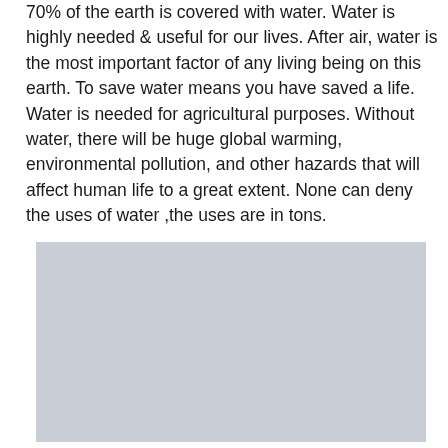70% of the earth is covered with water. Water is highly needed & useful for our lives. After air, water is the most important factor of any living being on this earth. To save water means you have saved a life. Water is needed for agricultural purposes. Without water, there will be huge global warming, environmental pollution, and other hazards that will affect human life to a great extent. None can deny the uses of water ,the uses are in tons.
[Figure (photo): A large light grey rectangular placeholder image block.]